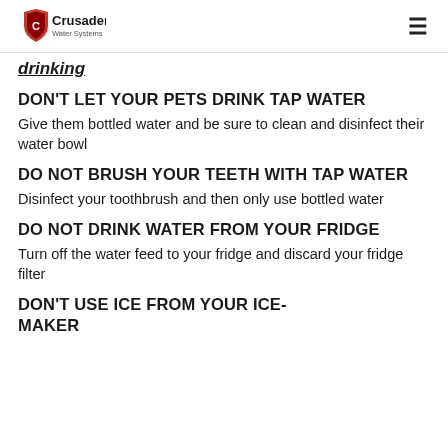Crusader Water Systems
drinking
DON'T LET YOUR PETS DRINK TAP WATER
Give them bottled water and be sure to clean and disinfect their water bowl
DO NOT BRUSH YOUR TEETH WITH TAP WATER
Disinfect your toothbrush and then only use bottled water
DO NOT DRINK WATER FROM YOUR FRIDGE
Turn off the water feed to your fridge and discard your fridge filter
DON'T USE ICE FROM YOUR ICE-MAKER